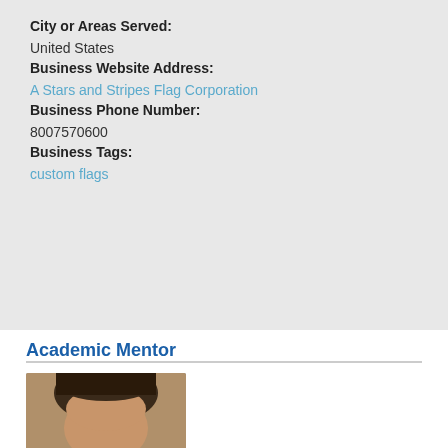City or Areas Served:
United States
Business Website Address:
A Stars and Stripes Flag Corporation
Business Phone Number:
8007570600
Business Tags:
custom flags
Academic Mentor
[Figure (photo): Headshot photo of a person with dark hair, cropped at the bottom of frame]